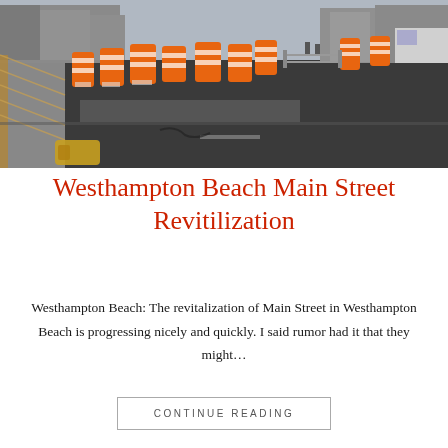[Figure (photo): Street construction scene with orange safety barrels/barricades in the street, fencing on the left, paved road visible, buildings in background. Westhampton Beach Main Street revitalization construction photo.]
Westhampton Beach Main Street Revitilization
Westhampton Beach: The revitalization of Main Street in Westhampton Beach is progressing nicely and quickly. I said rumor had it that they might…
CONTINUE READING